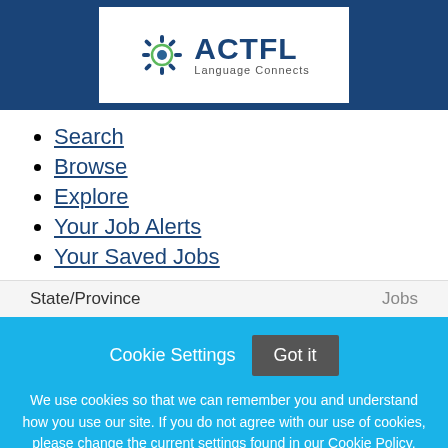[Figure (logo): ACTFL Language Connects logo with decorative gear/snowflake icon in dark blue and green]
Search
Browse
Explore
Your Job Alerts
Your Saved Jobs
State/Province	Jobs
Cookie Settings   Got it
We use cookies so that we can remember you and understand how you use our site. If you do not agree with our use of cookies, please change the current settings found in our Cookie Policy. Otherwise, you agree to the use of the cookies as they are currently set.